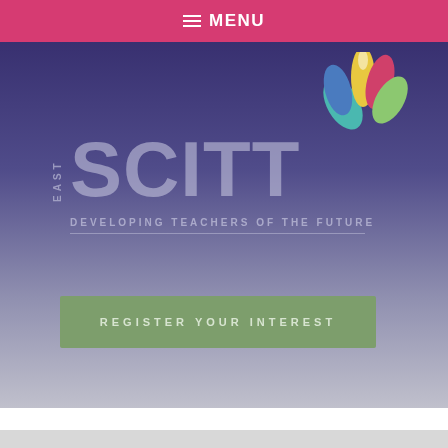≡ MENU
[Figure (logo): East SCITT logo with colorful lotus flower, large SCITT text, tagline DEVELOPING TEACHERS OF THE FUTURE on purple-to-gray gradient background]
REGISTER YOUR INTEREST